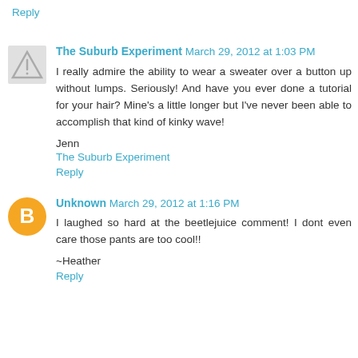Reply
The Suburb Experiment March 29, 2012 at 1:03 PM
I really admire the ability to wear a sweater over a button up without lumps. Seriously! And have you ever done a tutorial for your hair? Mine's a little longer but I've never been able to accomplish that kind of kinky wave!
Jenn
The Suburb Experiment
Reply
Unknown March 29, 2012 at 1:16 PM
I laughed so hard at the beetlejuice comment! I dont even care those pants are too cool!!
~Heather
Reply